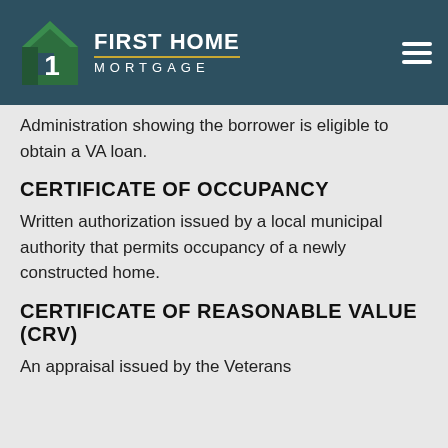[Figure (logo): First Home Mortgage logo with green house icon and white text on teal/dark background]
Administration showing the borrower is eligible to obtain a VA loan.
CERTIFICATE OF OCCUPANCY
Written authorization issued by a local municipal authority that permits occupancy of a newly constructed home.
CERTIFICATE OF REASONABLE VALUE (CRV)
An appraisal issued by the Veterans